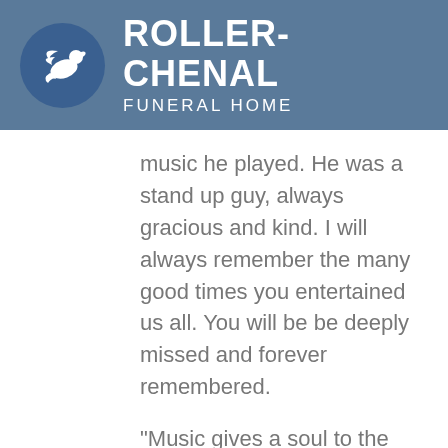[Figure (logo): Roller-Chenal Funeral Home logo with white dove on blue circle and company name in white text on blue-grey banner]
music he played. He was a stand up guy, always gracious and kind. I will always remember the many good times you entertained us all. You will be be deeply missed and forever remembered.
"Music gives a soul to the universe, wings to the mind, flight to the imagination and wings life to everything. -Plato.